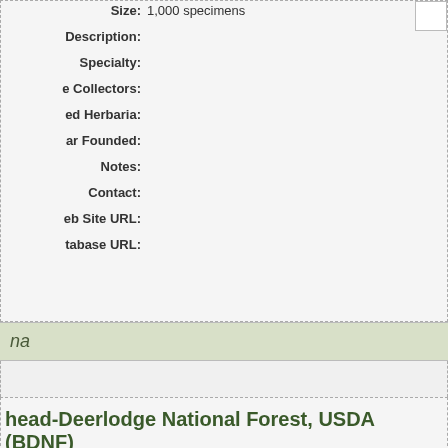Size: 1,000 specimens
Description:
Specialty:
e Collectors:
ed Herbaria:
ar Founded:
Notes:
Contact:
eb Site URL:
tabase URL:
na
head-Deerlodge National Forest, USDA (BDNF)
Size: 1,101 specimens